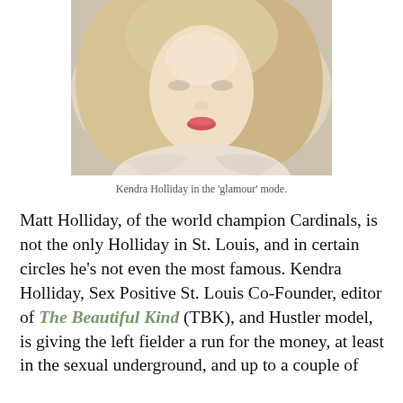[Figure (photo): A glamour-style portrait photo of a blonde woman, shown from shoulders up, with wavy hair and red lips, wearing an off-shoulder light-colored top. The photo has a soft, warm tone.]
Kendra Holliday in the 'glamour' mode.
Matt Holliday, of the world champion Cardinals, is not the only Holliday in St. Louis, and in certain circles he's not even the most famous. Kendra Holliday, Sex Positive St. Louis Co-Founder, editor of The Beautiful Kind (TBK), and Hustler model, is giving the left fielder a run for the money, at least in the sexual underground, and up to a couple of years ago, I didn't know that St. Louis had a